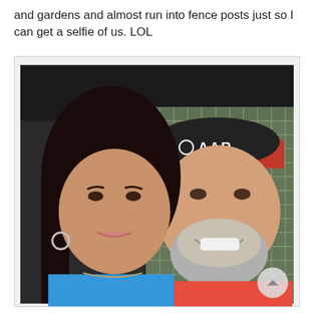and gardens and almost run into fence posts just so I can get a selfie of us. LOL
[Figure (photo): A selfie of a woman with dark hair wearing a blue top and a man with a beard wearing a red shirt and a black AAR cap, taken under a dark canopy with a chain-link fence visible in the background.]